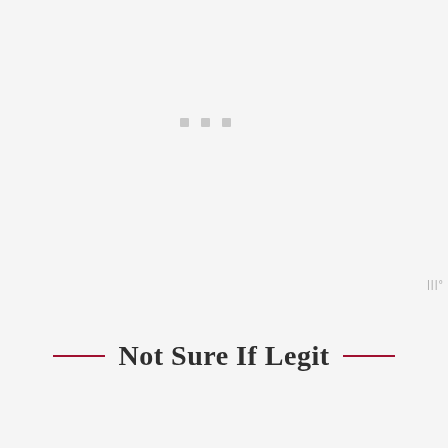[Figure (other): Three small light gray square dots arranged horizontally, representing a loading or placeholder indicator]
|||°
Not Sure If Legit